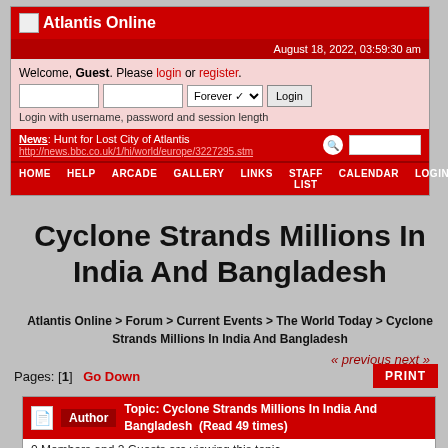Atlantis Online
August 18, 2022, 03:59:30 am
Welcome, Guest. Please login or register. Login with username, password and session length
News: Hunt for Lost City of Atlantis http://news.bbc.co.uk/1/hi/world/europe/3227295.stm
HOME  HELP  ARCADE  GALLERY  LINKS  STAFF LIST  CALENDAR  LOGIN  REGISTER
Cyclone Strands Millions In India And Bangladesh
Atlantis Online > Forum > Current Events > The World Today > Cyclone Strands Millions In India And Bangladesh
« previous  next »
Pages: [1]  Go Down
Topic: Cyclone Strands Millions In India And Bangladesh  (Read 49 times)
0 Members and 2 Guests are viewing this topic.